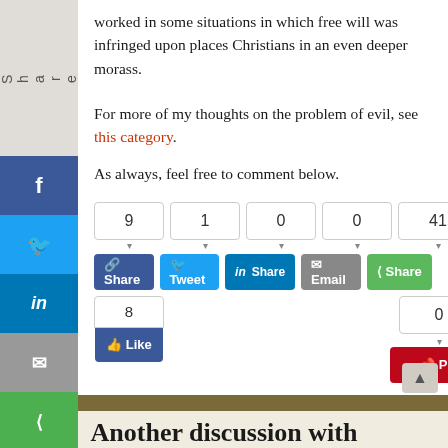worked in some situations in which free will was infringed upon places Christians in an even deeper morass.
For more of my thoughts on the problem of evil, see this category.
As always, feel free to comment below.
[Figure (infographic): Social share buttons with counts: Facebook Share (9), Tweet (1), LinkedIn Share (0), Email (0), Share (41), Like (8), Pinterest Pin (0)]
Another discussion with